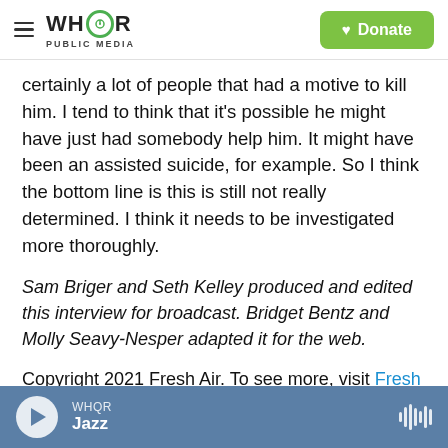WHQR PUBLIC MEDIA | Donate
certainly a lot of people that had a motive to kill him. I tend to think that it's possible he might have just had somebody help him. It might have been an assisted suicide, for example. So I think the bottom line is this is still not really determined. I think it needs to be investigated more thoroughly.
Sam Briger and Seth Kelley produced and edited this interview for broadcast. Bridget Bentz and Molly Seavy-Nesper adapted it for the web.
Copyright 2021 Fresh Air. To see more, visit Fresh Air.
WHQR Jazz